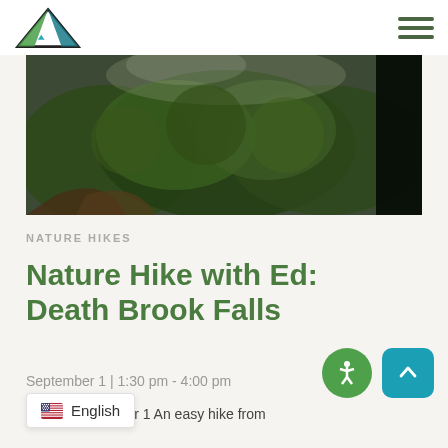Navigation header with logo and hamburger menu
[Figure (photo): Forested hiking trail with dense green foliage and a large tree trunk on the right]
NATURE HIKES
Nature Hike with Ed: Death Brook Falls
September 1 | 1:30 pm - 4:00 pm
T...ptember 1 An easy hike from ...